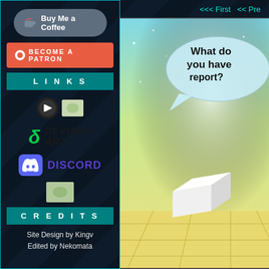[Figure (screenshot): Buy Me a Coffee button with cup icon]
[Figure (screenshot): Become a Patron button (Patreon) in red/orange]
LINKS
[Figure (logo): PeerTube logo and small image icon]
[Figure (logo): DeviantArt logo in green and black]
[Figure (logo): Discord logo — purple icon and purple text DISCORD]
[Figure (logo): Small image/site icon placeholder]
CREDITS
Site Design by Kingv
Edited by Nekomata
<<< First  << Pre
[Figure (illustration): Comic panel showing a speech bubble 'What do you have to report?' with a bright gradient background and a white box/object on a tiled floor]